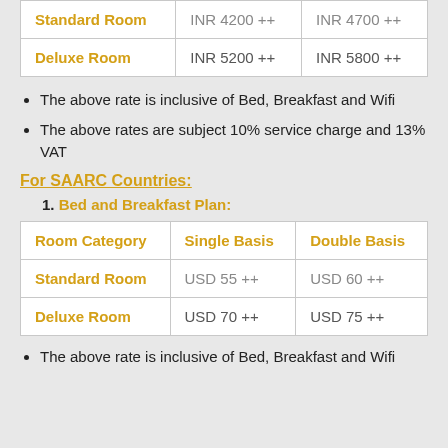| Room Category | Single Basis | Double Basis |
| --- | --- | --- |
| Standard Room | INR 4200 ++ | INR 4700 ++ |
| Deluxe Room | INR 5200 ++ | INR 5800 ++ |
The above rate is inclusive of Bed, Breakfast and Wifi
The above rates are subject 10% service charge and 13% VAT
For SAARC Countries:
Bed and Breakfast Plan:
| Room Category | Single Basis | Double Basis |
| --- | --- | --- |
| Standard Room | USD 55 ++ | USD 60 ++ |
| Deluxe Room | USD 70 ++ | USD 75 ++ |
The above rate is inclusive of Bed, Breakfast and Wifi